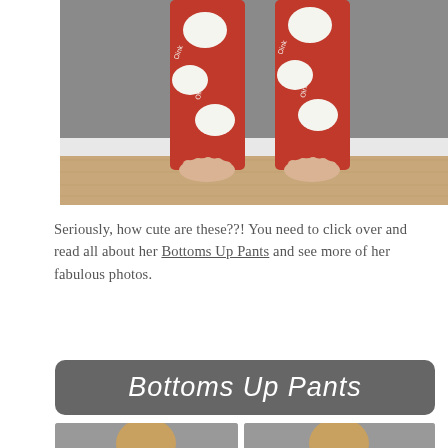[Figure (photo): Child's legs wearing red pajama pants with white pig pattern ('Oink' text), standing barefoot on wooden floor against white baseboard and gray wall.]
Seriously, how cute are these??!  You need to click over and read all about her Bottoms Up Pants and see more of her fabulous photos.
[Figure (illustration): Dark gray rounded rectangle banner with white italic text reading 'Bottoms Up Pants']
[Figure (photo): Two small photos partially visible at bottom of page]